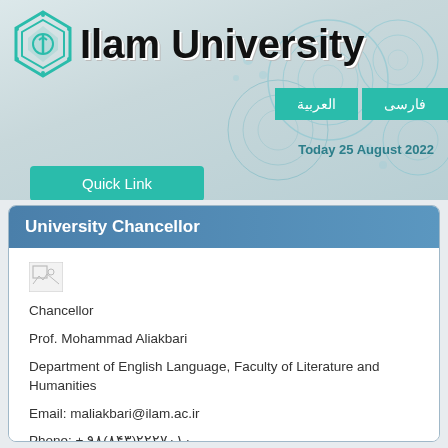[Figure (logo): Ilam University logo — teal geometric hexagonal emblem with Arabic calligraphy inside]
Ilam University
العربية
فارسی
Today 25 August 2022
Quick Link
University Chancellor
[Figure (photo): Broken image placeholder for chancellor photo]
Chancellor
Prof. Mohammad Aliakbari
Department of English Language, Faculty of Literature and Humanities
Email: maliakbari@ilam.ac.ir
Phone: + ۹۸(۸۴۳)۲۲۲۷۰۱۰